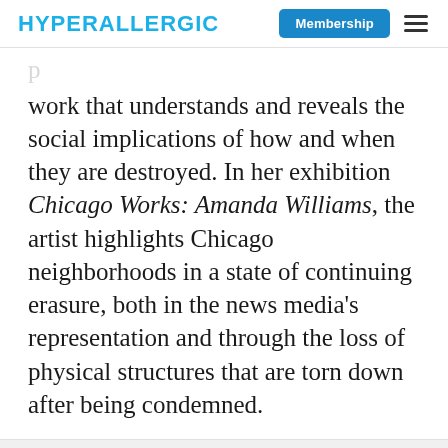HYPERALLERGIC | Membership
work that understands and reveals the social implications of how and when they are destroyed. In her exhibition Chicago Works: Amanda Williams, the artist highlights Chicago neighborhoods in a state of continuing erasure, both in the news media's representation and through the loss of physical structures that are torn down after being condemned.